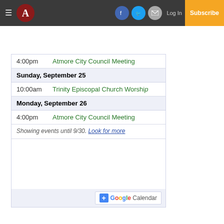Atmore newspaper header with hamburger menu, logo A, social icons (Facebook, Twitter, Email), Log In, Subscribe
4:00pm  Atmore City Council Meeting
Sunday, September 25
10:00am  Trinity Episcopal Church Worship
Monday, September 26
4:00pm  Atmore City Council Meeting
Showing events until 9/30. Look for more
[Figure (logo): Google Calendar button with + icon]